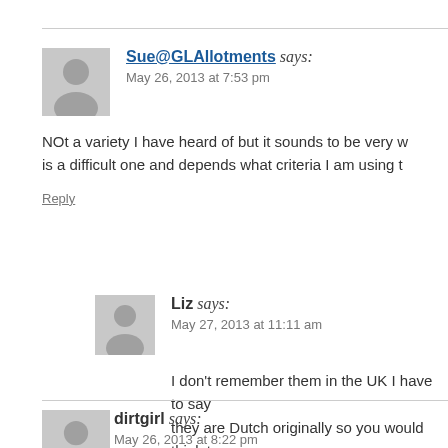Sue@GLAllotments says:
May 26, 2013 at 7:53 pm
NOt a variety I have heard of but it sounds to be very w... is a difficult one and depends what criteria I am using t...
Reply
Liz says:
May 27, 2013 at 11:11 am
I don't remember them in the UK I have to say... they are Dutch originally so you would think t...
Reply
dirtgirl says:
May 26, 2013 at 8:22 pm